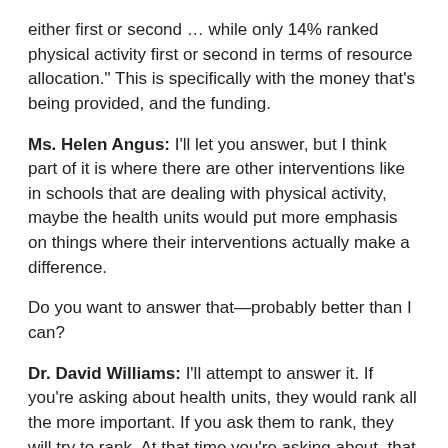either first or second … while only 14% ranked physical activity first or second in terms of resource allocation." This is specifically with the money that's being provided, and the funding.
Ms. Helen Angus: I'll let you answer, but I think part of it is where there are other interventions like in schools that are dealing with physical activity, maybe the health units would put more emphasis on things where their interventions actually make a difference.
Do you want to answer that—probably better than I can?
Dr. David Williams: I'll attempt to answer it. If you're asking about health units, they would rank all the more important. If you ask them to rank, they will try to rank. At that time you're asking about, that survey, the big concern then was around overweight in children. That was a priority at that time, especially with nutrition and eating. Physical activity is not far behind.